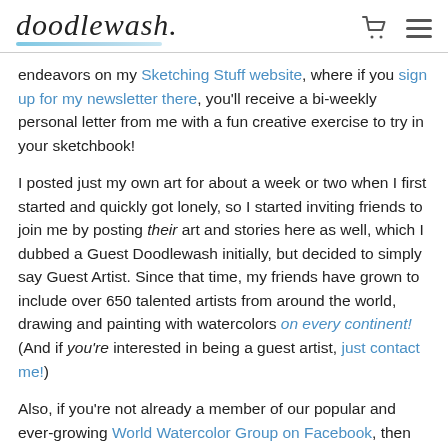doodlewash.
endeavors on my Sketching Stuff website, where if you sign up for my newsletter there, you'll receive a bi-weekly personal letter from me with a fun creative exercise to try in your sketchbook!
I posted just my own art for about a week or two when I first started and quickly got lonely, so I started inviting friends to join me by posting their art and stories here as well, which I dubbed a Guest Doodlewash initially, but decided to simply say Guest Artist. Since that time, my friends have grown to include over 650 talented artists from around the world, drawing and painting with watercolors on every continent! (And if you're interested in being a guest artist, just contact me!)
Also, if you're not already a member of our popular and ever-growing World Watercolor Group on Facebook, then click here to